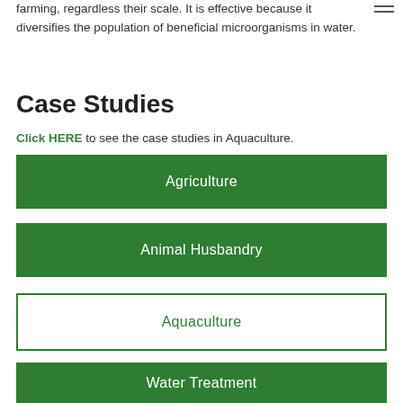farming, regardless their scale. It is effective because it diversifies the population of beneficial microorganisms in water.
Case Studies
Click HERE to see the case studies in Aquaculture.
Agriculture
Animal Husbandry
Aquaculture
Water Treatment